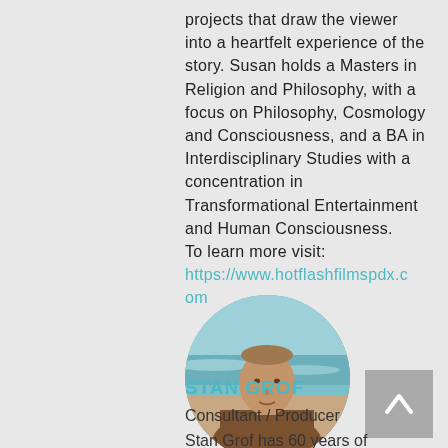projects that draw the viewer into a heartfelt experience of the story. Susan holds a Masters in Religion and Philosophy, with a focus on Philosophy, Cosmology and Consciousness, and a BA in Interdisciplinary Studies with a concentration in Transformational Entertainment and Human Consciousness.
To learn more visit: https://www.hotflashfilmspdx.com
[Figure (photo): Circular profile photo of Stan Grof, an older man standing near a beach with ocean waves in the background, wearing a brown jacket.]
STAN GROF
Consultant / Producer
Stan Grof has 60 years of